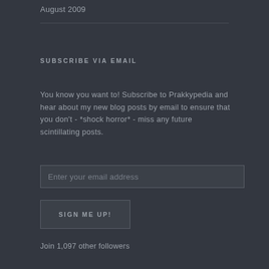August 2009
SUBSCRIBE VIA EMAIL
You know you want to! Subscribe to Prakkypedia and hear about my new blog posts by email to ensure that you don't - *shock horror* - miss any future scintillating posts.
Enter your email address
SIGN ME UP!
Join 1,097 other followers